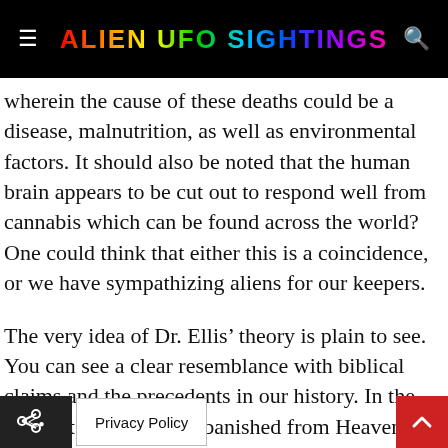ALIEN UFO SIGHTINGS
wherein the cause of these deaths could be a disease, malnutrition, as well as environmental factors. It should also be noted that the human brain appears to be cut out to respond well from cannabis which can be found across the world? One could think that either this is a coincidence, or we have sympathizing aliens for our keepers.
The very idea of Dr. Ellis’ theory is plain to see. You can see a clear resemblance with biblical claims and the precedents in our history. In the Bible, it says we were banished from Heaven. It’s evident in a manner in which the humankind is condemned on Earth to live a sin[...] e only w[...]